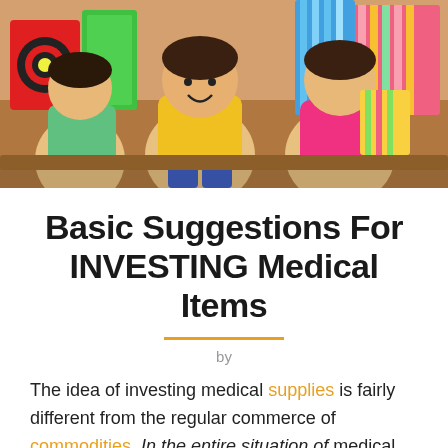[Figure (photo): Children sitting together holding colorful shopping bags in a bright, cheerful scene]
Basic Suggestions For INVESTING Medical Items
by
The idea of investing medical supplies is fairly different from the regular commerce of commodities. In the entire situation of medical related items, every single item has to end up being